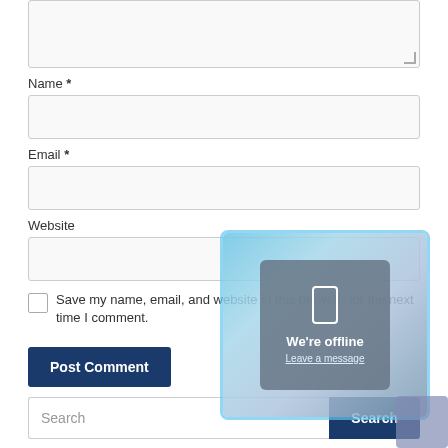[textarea box at top]
Name *
Email *
Website
Save my name, email, and website in this browser for the next time I comment.
Post Comment
Search
RECENT POSTS
[Figure (screenshot): Chat widget overlay showing 'We're offline' message with 'Leave a message' link, on a blue textured background]